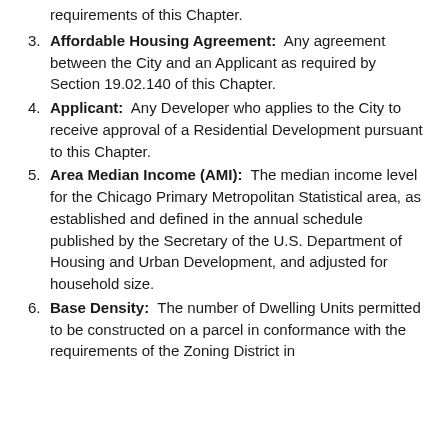requirements of this Chapter.
3. Affordable Housing Agreement:  Any agreement between the City and an Applicant as required by Section 19.02.140 of this Chapter.
4. Applicant:  Any Developer who applies to the City to receive approval of a Residential Development pursuant to this Chapter.
5. Area Median Income (AMI):  The median income level for the Chicago Primary Metropolitan Statistical area, as established and defined in the annual schedule published by the Secretary of the U.S. Department of Housing and Urban Development, and adjusted for household size.
6. Base Density:  The number of Dwelling Units permitted to be constructed on a parcel in conformance with the requirements of the Zoning District in